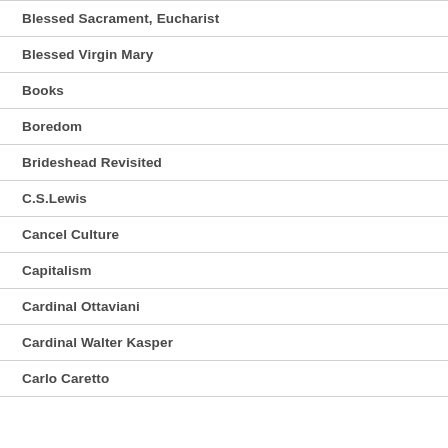Blessed Sacrament, Eucharist
Blessed Virgin Mary
Books
Boredom
Brideshead Revisited
C.S.Lewis
Cancel Culture
Capitalism
Cardinal Ottaviani
Cardinal Walter Kasper
Carlo Caretto